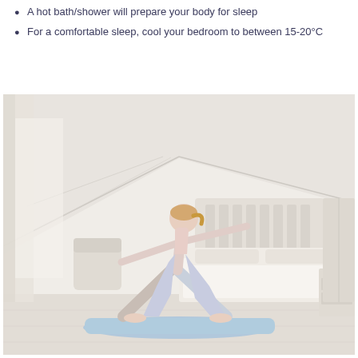A hot bath/shower will prepare your body for sleep
For a comfortable sleep, cool your bedroom to between 15-20°C
[Figure (photo): Woman performing a yoga warrior pose on a blue mat in a bright, white bedroom with a sloped ceiling, a bed with white bedding, a teal lamp on a nightstand, and sheer white curtains.]